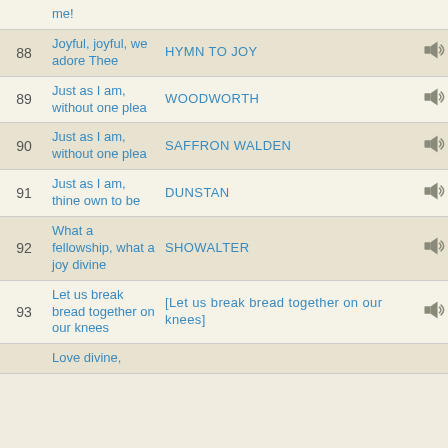| # | First line | Tune | Audio |
| --- | --- | --- | --- |
|  | me! |  |  |
| 88 | Joyful, joyful, we adore Thee | HYMN TO JOY | 🔊 |
| 89 | Just as I am, without one plea | WOODWORTH | 🔊 |
| 90 | Just as I am, without one plea | SAFFRON WALDEN | 🔊 |
| 91 | Just as I am, thine own to be | DUNSTAN | 🔊 |
| 92 | What a fellowship, what a joy divine | SHOWALTER | 🔊 |
| 93 | Let us break bread together on our knees | [Let us break bread together on our knees] | 🔊 |
|  | Love divine, |  |  |